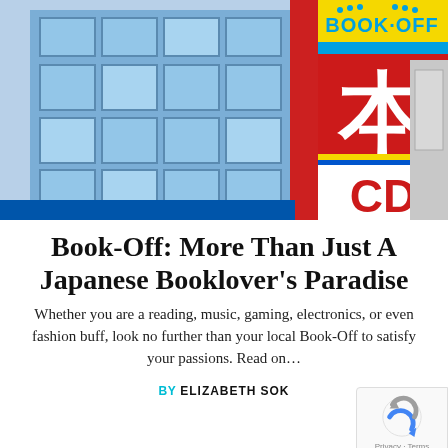[Figure (photo): Exterior photo of a Book-Off store in Japan, showing a colorful red, yellow, and blue sign with the Book-Off logo at the top, a large Japanese kanji character (本, meaning 'book') in white on red background, and 'CD' in red on white background at the bottom. The building has blue glass windows.]
Book-Off: More Than Just A Japanese Booklover's Paradise
Whether you are a reading, music, gaming, electronics, or even fashion buff, look no further than your local Book-Off to satisfy your passions. Read on…
BY ELIZABETH SOK